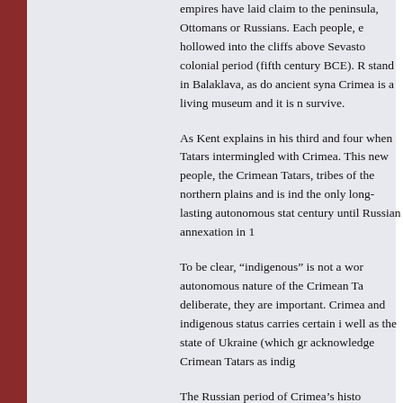empires have laid claim to the peninsula, Ottomans or Russians. Each people, e hollowed into the cliffs above Sevasto colonial period (fifth century BCE). R stand in Balaklava, as do ancient syna Crimea is a living museum and it is n survive.
As Kent explains in his third and four when Tatars intermingled with Crimea. This new people, the Crimean Tatars, tribes of the northern plains and is ind the only long-lasting autonomous stat century until Russian annexation in 1
To be clear, “indigenous” is not a wor autonomous nature of the Crimean Ta deliberate, they are important. Crimea and indigenous status carries certain i well as the state of Ukraine (which gr acknowledge Crimean Tatars as indig
The Russian period of Crimea’s histo Annexation and the Crimean War (18 took their place and slowly remade th